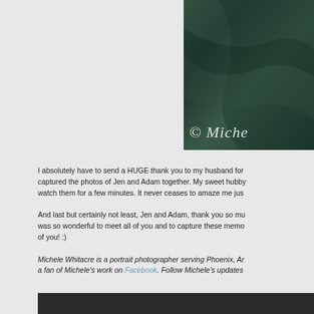[Figure (photo): Partial photograph of dark teal/green fabric or textile, cropped on the right side of the page, with a white cursive watermark reading '© Miche' visible at bottom left of the image]
I absolutely have to send a HUGE thank you to my husband for captured the photos of Jen and Adam together. My sweet hubby watch them for a few minutes. It never ceases to amaze me jus
And last but certainly not least, Jen and Adam, thank you so mu was so wonderful to meet all of you and to capture these memo of you! :)
Michele Whitacre is a portrait photographer serving Phoenix, Ar a fan of Michele's work on Facebook. Follow Michele's updates